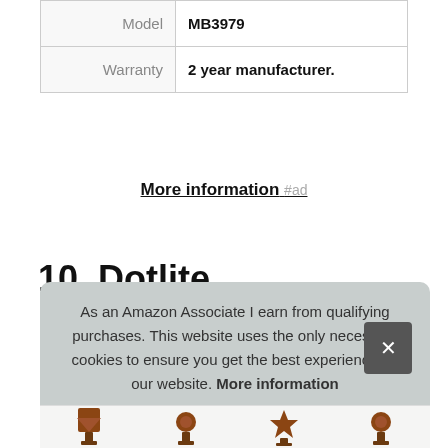| Model | MB3979 |
| Warranty | 2 year manufacturer. |
More information #ad
10. Dotlite
#ad
As an Amazon Associate I earn from qualifying purchases. This website uses the only necessary cookies to ensure you get the best experience on our website. More information